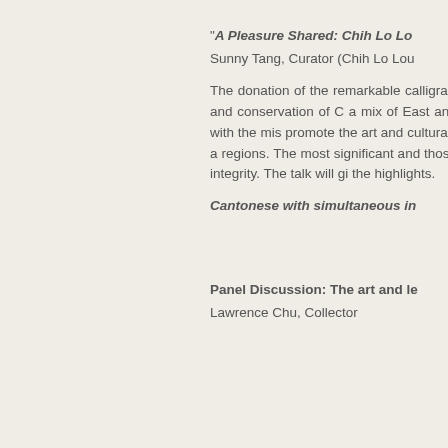Sunday, 3...
"A Pleasure Shared: Chih Lo Lo...
Sunny Tang, Curator (Chih Lo Lou...
The donation of the remarkable calligraphy to the Hong Kong Mus... preservation and conservation of C... a mix of East and West. The Chih ... kwong (1907 – 2006) with the mis... promote the art and cultural herita... Song dynasty to the 20th century ... regions. The most significant and ... those created by the "Ming loyalis... and noble integrity. The talk will gi... the highlights.
Cantonese with simultaneous in...
Sunday, 3...
Panel Discussion: The art and le...
Lawrence Chu, Collector